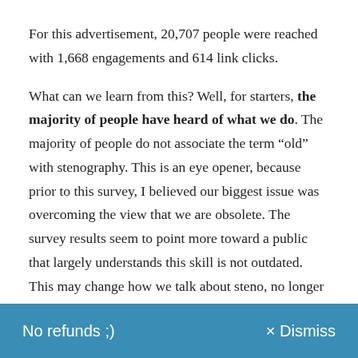For this advertisement, 20,707 people were reached with 1,668 engagements and 614 link clicks.
What can we learn from this? Well, for starters, the majority of people have heard of what we do. The majority of people do not associate the term “old” with stenography. This is an eye opener, because prior to this survey, I believed our biggest issue was overcoming the view that we are obsolete. The survey results seem to point more toward a public that largely understands this skill is not outdated. This may change how we talk about steno, no longer coming from a place of defense, but pride, and helping others understand why it is a
No refunds ;)    × Dismiss